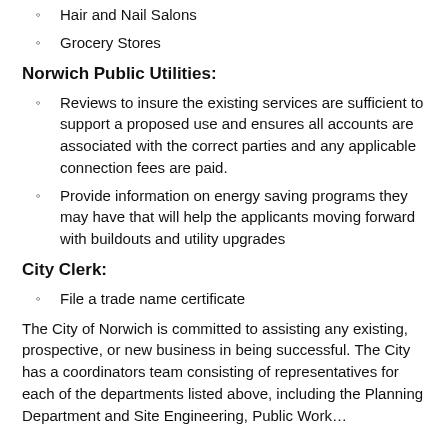Hair and Nail Salons
Grocery Stores
Norwich Public Utilities:
Reviews to insure the existing services are sufficient to support a proposed use and ensures all accounts are associated with the correct parties and any applicable connection fees are paid.
Provide information on energy saving programs they may have that will help the applicants moving forward with buildouts and utility upgrades
City Clerk:
File a trade name certificate
The City of Norwich is committed to assisting any existing, prospective, or new business in being successful. The City has a coordinators team consisting of representatives for each of the departments listed above, including the Planning Department and Site Engineering, Public Work…